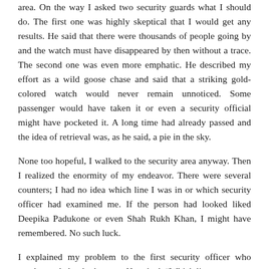area. On the way I asked two security guards what I should do. The first one was highly skeptical that I would get any results. He said that there were thousands of people going by and the watch must have disappeared by then without a trace. The second one was even more emphatic. He described my effort as a wild goose chase and said that a striking gold-colored watch would never remain unnoticed. Some passenger would have taken it or even a security official might have pocketed it. A long time had already passed and the idea of retrieval was, as he said, a pie in the sky.
None too hopeful, I walked to the security area anyway. Then I realized the enormity of my endeavor. There were several counters; I had no idea which line I was in or which security officer had examined me. If the person had looked liked Deepika Padukone or even Shah Rukh Khan, I might have remembered. No such luck.
I explained my problem to the first security officer who condescended to look at me. He asked, “Which line were